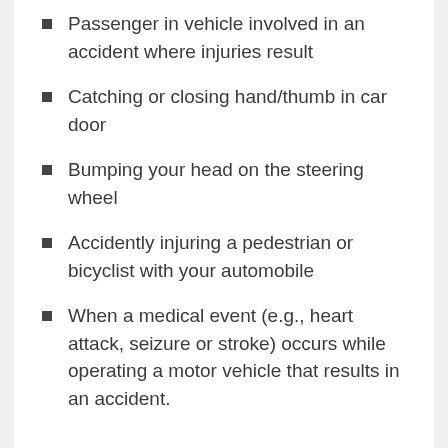Passenger in vehicle involved in an accident where injuries result
Catching or closing hand/thumb in car door
Bumping your head on the steering wheel
Accidently injuring a pedestrian or bicyclist with your automobile
When a medical event (e.g., heart attack, seizure or stroke) occurs while operating a motor vehicle that results in an accident.